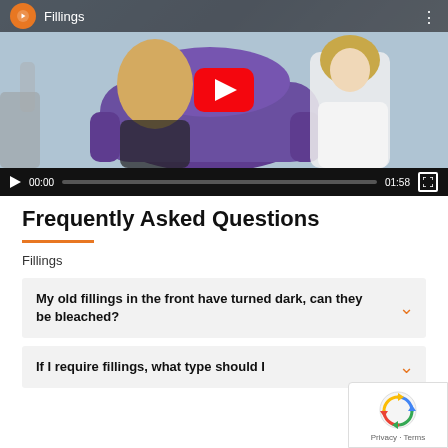[Figure (screenshot): YouTube video player showing a dental appointment scene with a patient in a purple dental chair and a dentist. Title shows 'Fillings'. Controls show 00:00 / 01:58.]
Frequently Asked Questions
Fillings
My old fillings in the front have turned dark, can they be bleached?
If I require fillings, what type should I